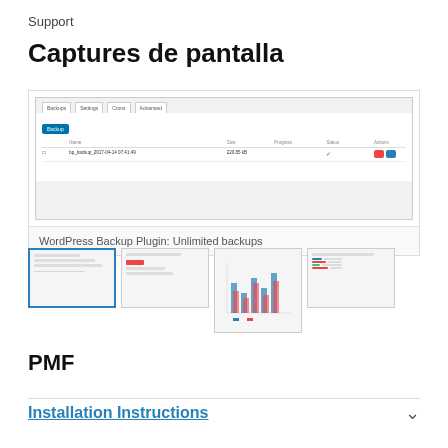Support
Captures de pantalla
[Figure (screenshot): WordPress Backup Plugin admin screen showing a backup list with columns: Name, Size, Progress, Status, Actions. One backup entry is listed.]
WordPress Backup Plugin: Unlimited backups
[Figure (screenshot): Thumbnail 1: Selected - backup list view]
[Figure (screenshot): Thumbnail 2: Settings view with red button]
[Figure (screenshot): Thumbnail 3: Chart/graph view with bar charts]
[Figure (screenshot): Thumbnail 4: Data table view]
PMF
Installation Instructions